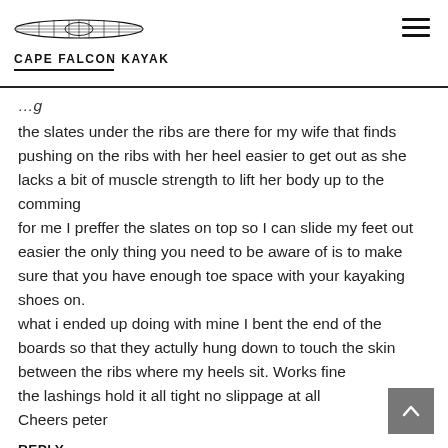CAPE FALCON KAYAK
the slates under the ribs are there for my wife that finds pushing on the ribs with her heel easier to get out as she lacks a bit of muscle strength to lift her body up to the comming
for me I preffer the slates on top so I can slide my feet out easier the only thing you need to be aware of is to make sure that you have enough toe space with your kayaking shoes on.
what i ended up doing with mine I bent the end of the boards so that they actully hung down to touch the skin between the ribs where my heels sit. Works fine
the lashings hold it all tight no slippage at all
Cheers peter
REPLY